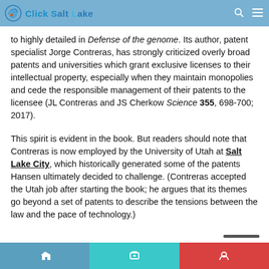Click Salt Lake — navigation bar
to highly detailed in Defense of the genome. Its author, patent specialist Jorge Contreras, has strongly criticized overly broad patents and universities which grant exclusive licenses to their intellectual property, especially when they maintain monopolies and cede the responsible management of their patents to the licensee (JL Contreras and JS Cherkow Science 355, 698-700; 2017).
This spirit is evident in the book. But readers should note that Contreras is now employed by the University of Utah at Salt Lake City, which historically generated some of the patents Hansen ultimately decided to challenge. (Contreras accepted the Utah job after starting the book; he argues that its themes go beyond a set of patents to describe the tensions between the law and the pace of technology.)
Bottom navigation bar with three sections